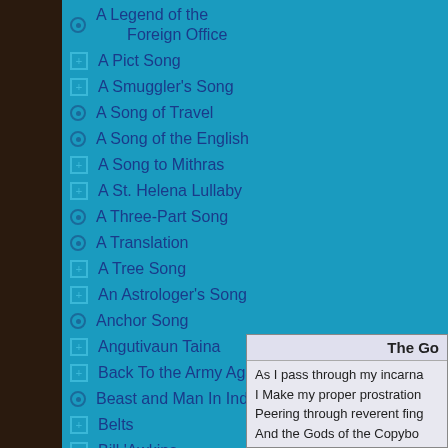A Legend of the Foreign Office
A Pict Song
A Smuggler's Song
A Song of Travel
A Song of the English
A Song to Mithras
A St. Helena Lullaby
A Three-Part Song
A Translation
A Tree Song
An Astrologer's Song
Anchor Song
Angutivaun Taina
Back To the Army Again
Beast and Man In India
Belts
Bill 'Awkins
Birds of Prey March
The Go...
As I pass through my incarna... I Make my proper prostration... Peering through reverent fing... And the Gods of the Copybo...